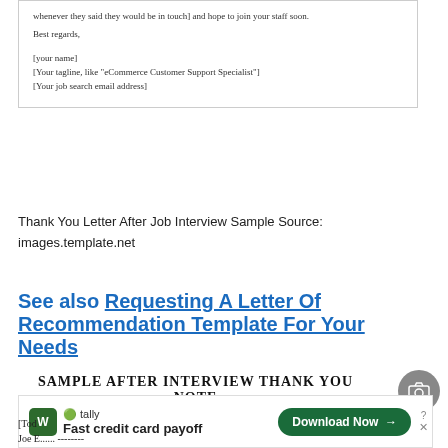[Figure (screenshot): Letter closing section showing 'whenever they said they would be in touch] and hope to join your staff soon.' followed by 'Best regards,' and signature placeholders: [your name], [Your tagline, like 'eCommerce Customer Support Specialist'], [Your job search email address]]
Thank You Letter After Job Interview Sample Source:
images.template.net
See also  Requesting A Letter Of Recommendation Template For Your Needs
[Figure (screenshot): SAMPLE AFTER INTERVIEW THANK YOU NOTE - header of a letter template with camera icon overlay]
[Figure (screenshot): Tally advertisement overlay: Fast credit card payoff - Download Now button with close controls]
[Tod
Joe E...
The Smith-Jones Company
6727 East West Street
Jobville, NY  15555